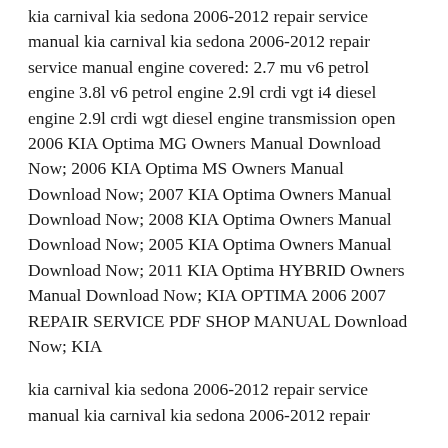kia carnival kia sedona 2006-2012 repair service manual kia carnival kia sedona 2006-2012 repair service manual engine covered: 2.7 mu v6 petrol engine 3.8l v6 petrol engine 2.9l crdi vgt i4 diesel engine 2.9l crdi wgt diesel engine transmission open 2006 KIA Optima MG Owners Manual Download Now; 2006 KIA Optima MS Owners Manual Download Now; 2007 KIA Optima Owners Manual Download Now; 2008 KIA Optima Owners Manual Download Now; 2005 KIA Optima Owners Manual Download Now; 2011 KIA Optima HYBRID Owners Manual Download Now; KIA OPTIMA 2006 2007 REPAIR SERVICE PDF SHOP MANUAL Download Now; KIA
kia carnival kia sedona 2006-2012 repair service manual kia carnival kia sedona 2006-2012 repair